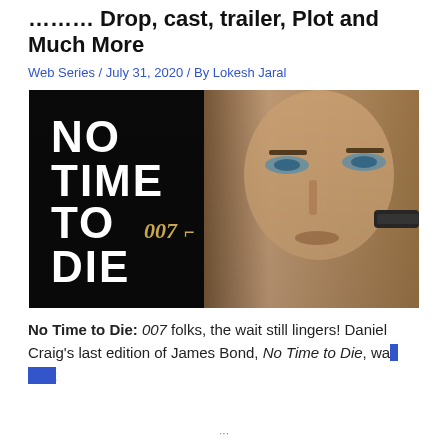No Time to Die, 007 folks, the wait still lingers! And Much More
Web Series / July 31, 2020 / By Lokesh Jaral
[Figure (photo): Movie poster for No Time to Die (007) showing the bold white text 'NO TIME TO DIE' and '007' logo on the left half with a black background, and a close-up of Daniel Craig's face on the right half, holding a gun.]
No Time to Die: 007 folks, the wait still lingers! Daniel Craig's last edition of James Bond, No Time to Die, was...